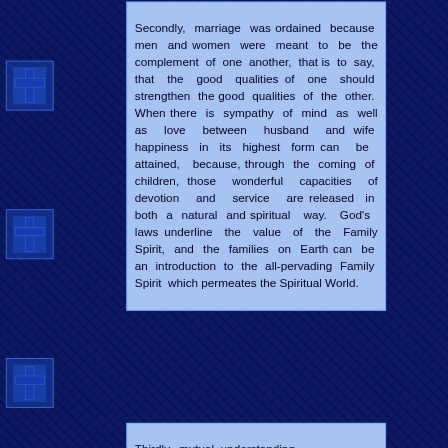Secondly, marriage was ordained because men and women were meant to be the complement of one another, that is to say, that the good qualities of one should strengthen the good qualities of the other. When there is sympathy of mind as well as love between husband and wife happiness in its highest form can be attained, because, through the coming of children, those wonderful capacities of devotion and service are released in both a natural and spiritual way. God's laws underline the value of the Family Spirit, and the families on Earth can be an introduction to the all-pervading Family Spirit which permeates the Spiritual World.
Thirdly, mutual understanding